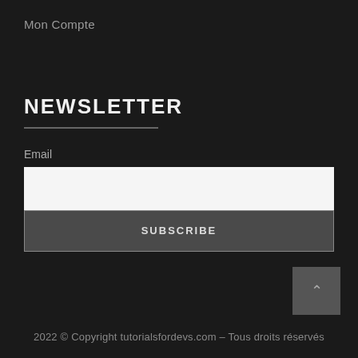Mon Compte
NEWSLETTER
Email
[Figure (other): White email input field]
[Figure (other): Subscribe button with dark background and border]
2022 © Copyright tutorialsfordevs.com – Tous droits réservés